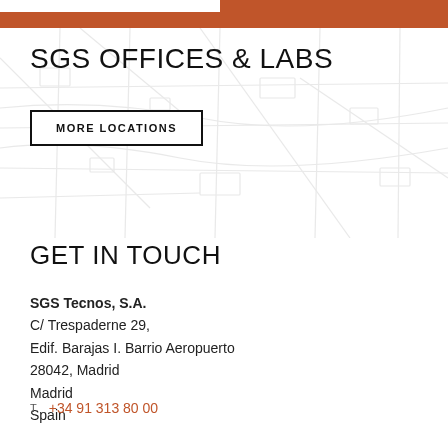SGS OFFICES & LABS
MORE LOCATIONS
GET IN TOUCH
SGS Tecnos, S.A.
C/ Trespaderne 29,
Edif. Barajas I. Barrio Aeropuerto
28042, Madrid
Madrid
Spain
T  +34 91 313 80 00